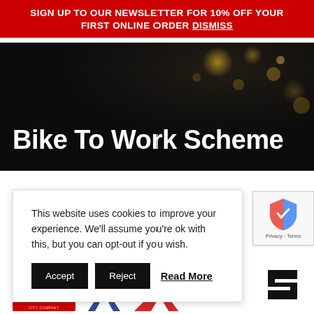SIGN UP TO OUR NEWSLETTER FOR 10% OFF YOUR FIRST ONLINE ORDER Dismiss
[Figure (photo): Dark hero banner with bokeh bokeh light spots, text overlay reading 'Bike To Work Scheme' in white bold font]
Bike To Work Scheme
This website uses cookies to improve your experience. We'll assume you're ok with this, but you can opt-out if you wish.
Accept   Reject   Read More
[Figure (logo): Brand logos at the bottom: Kellys, and other cycling brands]
[Figure (logo): Google reCAPTCHA badge with shield icon and Privacy · Terms text]